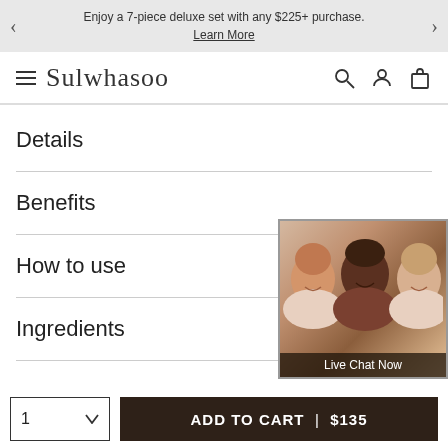Enjoy a 7-piece deluxe set with any $225+ purchase. Learn More
[Figure (logo): Sulwhasoo brand logo with hamburger menu icon]
Details
Benefits
How to use
Ingredients
[Figure (photo): Live chat now promotional widget showing three smiling women]
ADD TO CART | $135